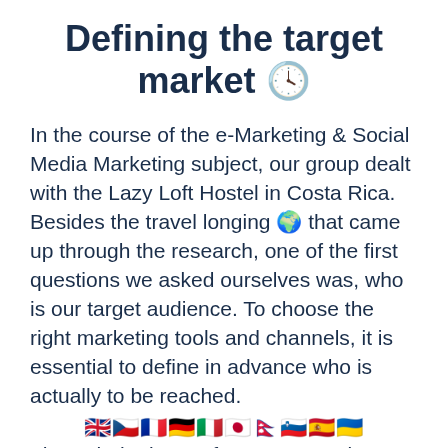Defining the target market 🔍
In the course of the e-Marketing & Social Media Marketing subject, our group dealt with the Lazy Loft Hostel in Costa Rica. Besides the travel longing ✈ that came up through the research, one of the first questions we asked ourselves was, who is our target audience. To choose the right marketing tools and channels, it is essential to define in advance who is actually to be reached.
[Figure (infographic): Row of flag emoji icons: UK, Czech, French, German, Italian, Japanese, Nepali, Slovenian, Spanish, Ukrainian flags]
Through the input of a group member who was in